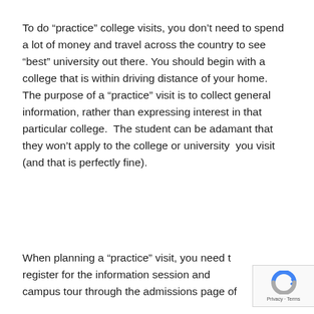To do “practice” college visits, you don’t need to spend a lot of money and travel across the country to see “best” university out there. You should begin with a college that is within driving distance of your home.  The purpose of a “practice” visit is to collect general information, rather than expressing interest in that particular college.  The student can be adamant that they won’t apply to the college or university  you visit (and that is perfectly fine).
When planning a “practice” visit, you need to register for the information session and campus tour through the admissions page of